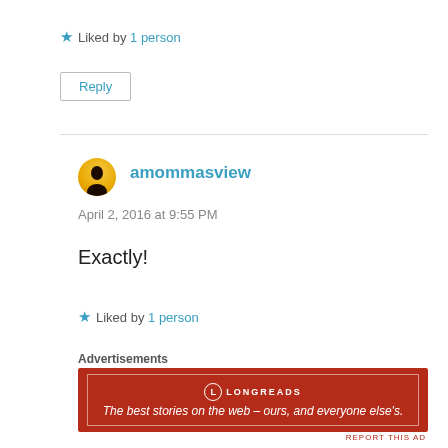★ Liked by 1 person
Reply
amommasview
April 2, 2016 at 9:55 PM
Exactly!
★ Liked by 1 person
Advertisements
[Figure (other): Longreads advertisement banner: red background with white border, Longreads logo and tagline 'The best stories on the web – ours, and everyone else's.']